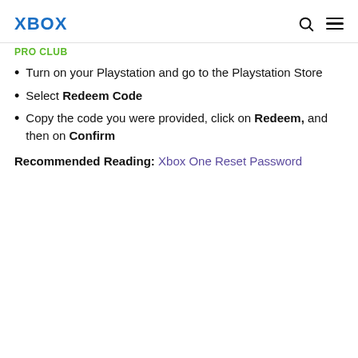XBOX  PRO CLUB
Turn on your Playstation and go to the Playstation Store
Select Redeem Code
Copy the code you were provided, click on Redeem, and then on Confirm
Recommended Reading:  Xbox One Reset Password